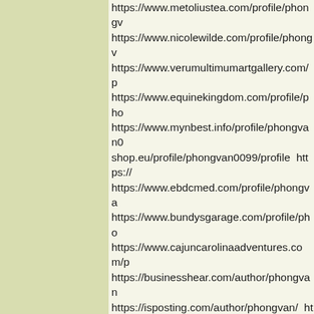https://www.metoliustea.com/profile/phongv https://www.nicolewilde.com/profile/phongv https://www.verumultimumartgallery.com/p https://www.equinekingdom.com/profile/pho https://www.mynbest.info/profile/phongvan0 shop.eu/profile/phongvan0099/profile https:// https://www.ebdcmed.com/profile/phongva https://www.bundysgarage.com/profile/pho https://www.cajuncarolinaadventures.com/p https://businesshear.com/author/phongvan https://isposting.com/author/phongvan/ http https://articlesall.com/author/phongvan/ http https://www.ysraarogyasri.ap.gov.in/test123 https://topsitenet.com/profile/bietduoc/6673 is-normal (Blog cho đăng bài) https://www.c https://medicineexpert.com/phongvan (MXH https://reallygoodemails.com/phongvan http dots.com/pages/bietduoc-508644 https://tw https://phongvan.hotglue.me/ https://www.h https://photoclub.canadiangeographic.ca/p https://www.lesswrong.com/users/phongva https://www.telix.pl/profile/phongvan/ https://network.partnersglobal.org/members https://social.technet.microsoft.com/profile/